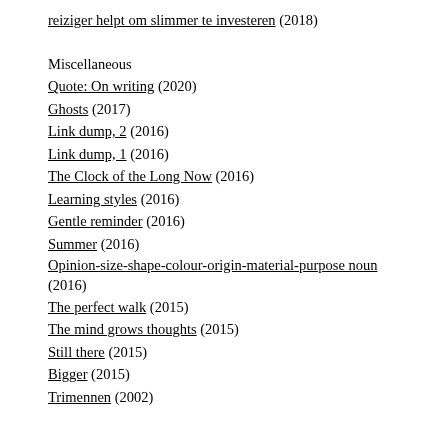reiziger helpt om slimmer te investeren (2018)
Miscellaneous
Quote: On writing (2020)
Ghosts (2017)
Link dump, 2 (2016)
Link dump, 1 (2016)
The Clock of the Long Now (2016)
Learning styles (2016)
Gentle reminder (2016)
Summer (2016)
Opinion-size-shape-colour-origin-material-purpose noun (2016)
The perfect walk (2015)
The mind grows thoughts (2015)
Still there (2015)
Bigger (2015)
Trimennen (2002)